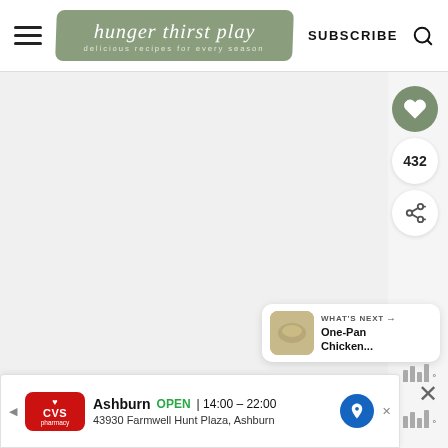hunger thirst play — delicious recipes for every season — SUBSCRIBE
[Figure (screenshot): Website screenshot showing the hunger thirst play blog header with hamburger menu, logo badge, SUBSCRIBE link, search icon, and a blank main content area with a heart/save button showing 432 saves, a share button, a What's Next card showing One-Pan Chicken..., and a CVS pharmacy ad banner at the bottom.]